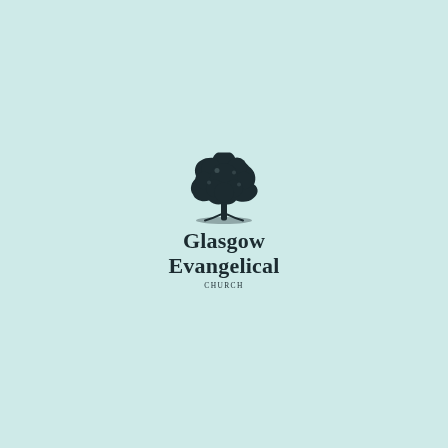[Figure (logo): Glasgow Evangelical Church logo: a dark silhouette of a large tree above the text 'Glasgow Evangelical' in bold serif font with 'CHURCH' in small caps below, all on a light mint/teal background.]